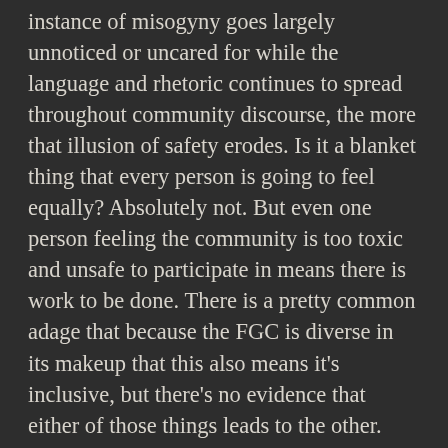instance of misogyny goes largely unnoticed or uncared for while the language and rhetoric continues to spread throughout community discourse, the more that illusion of safety erodes. Is it a blanket thing that every person is going to feel equally? Absolutely not. But even one person feeling the community is too toxic and unsafe to participate in means there is work to be done. There is a pretty common adage that because the FGC is diverse in its makeup that this also means it's inclusive, but there's no evidence that either of those things leads to the other. Inclusivity is a state that must be constantly worked on, especially when the elements of exclusivity are burrowed so